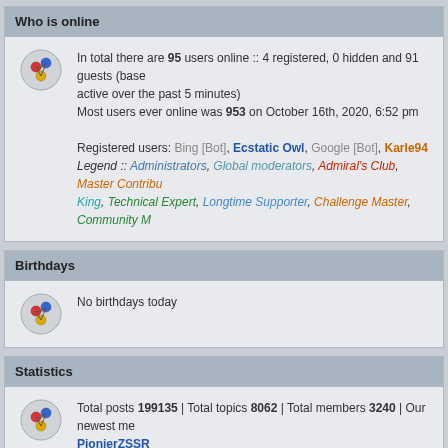Who is online
In total there are 95 users online :: 4 registered, 0 hidden and 91 guests (based on users active over the past 5 minutes)
Most users ever online was 953 on October 16th, 2020, 6:52 pm

Registered users: Bing [Bot], Ecstatic Owl, Google [Bot], Karle94
Legend :: Administrators, Global moderators, Admiral's Club, Master Contributors, King, Technical Expert, Longtime Supporter, Challenge Master, Community M...
Birthdays
No birthdays today
Statistics
Total posts 199135 | Total topics 8062 | Total members 3240 | Our newest member PionierZSSR
Board index | The team | Delete all board cookies | All
Powered by phpBB® Forum Software © phpBB Limited
[ GZIP: Off ]